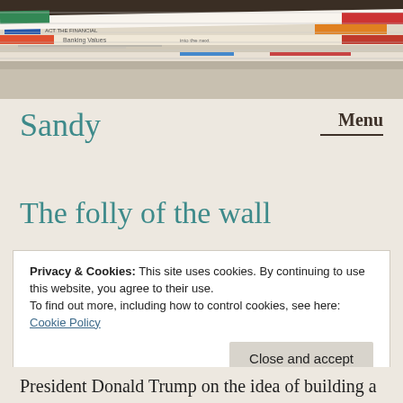[Figure (photo): Stack of newspapers and magazines viewed from the side, showing colorful covers and text, on a wooden surface]
Sandy
Menu
The folly of the wall
Privacy & Cookies: This site uses cookies. By continuing to use this website, you agree to their use.
To find out more, including how to control cookies, see here: Cookie Policy
Close and accept
President Donald Trump on the idea of building a